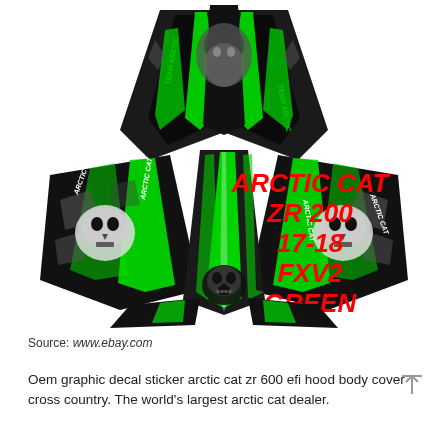[Figure (illustration): Arctic Cat ZR 200 snowmobile graphic decal kit design in black and green (FXV2 Green colorway) with skull motifs and 'Arctic Cat' branding text. The decal layout shows the body panels of the snowmobile spread flat, featuring a Team Arctic Cat design with wolf/lynx head graphics and a Punisher skull logo. Red bold italic text overlay reads: ARCTIC CAT ZR 200 17-18 FXV2 GREEN.]
Source: www.ebay.com
Oem graphic decal sticker arctic cat zr 600 efi hood body cover cross country. The world's largest arctic cat dealer.